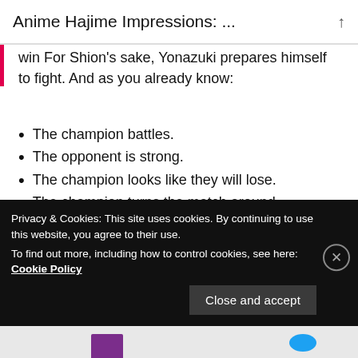Anime Hajime Impressions: ...
win For Shion's sake, Yonazuki prepares himself to fight. And as you already know:
The champion battles.
The opponent is strong.
The champion looks like they will lose.
The champion turns the match around.
The champion remembers their mission.
The opponent turns out to be the champion's
Privacy & Cookies: This site uses cookies. By continuing to use this website, you agree to their use.
To find out more, including how to control cookies, see here: Cookie Policy
Close and accept